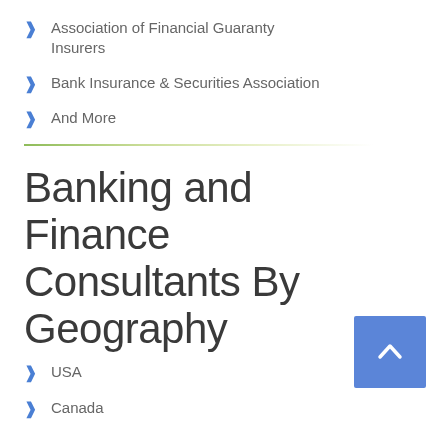Association of Financial Guaranty Insurers
Bank Insurance & Securities Association
And More
Banking and Finance Consultants By Geography
USA
Canada